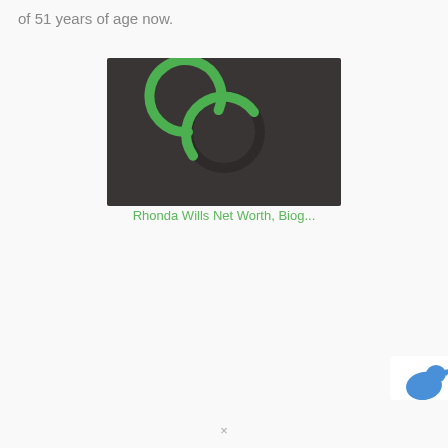of 51 years of age now.
[Figure (other): Dark grey rectangle with a green partial ring/loading spinner circle in the center, on a dark background.]
Rhonda Wills Net Worth, Biog...
[Figure (logo): Partial blue animal/bird logo in the bottom-right corner on a white background, partially cropped.]